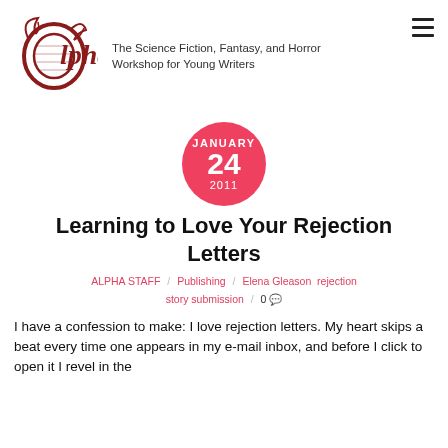Alpha — The Science Fiction, Fantasy, and Horror Workshop for Young Writers
[Figure (logo): Alpha workshop logo: a red illustrated ram/scroll letter O with calligraphic 'lpha' text]
JANUARY 24 2011 (date circle)
Learning to Love Your Rejection Letters
ALPHA STAFF / Publishing / Elena Gleason rejection story submission / 0 comments
I have a confession to make: I love rejection letters. My heart skips a beat every time one appears in my e-mail inbox, and before I click to open it I revel in the